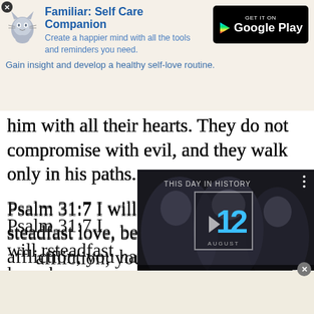[Figure (screenshot): Advertisement banner for 'Familiar: Self Care Companion' app with cat icon, tagline, and Google Play button]
him with all their hearts. They do not compromise with evil, and they walk only in his paths.
Psalm 31:7 I will rejoice in your steadfast love, because you have seen my affliction; you have known the distress of my soul.
[Figure (screenshot): Video overlay showing 'This Day in History' with the date 12 August, play button, mute icon, progress bar, and fullscreen controls]
Romans 12:15 Rejoice with those who rejoice,